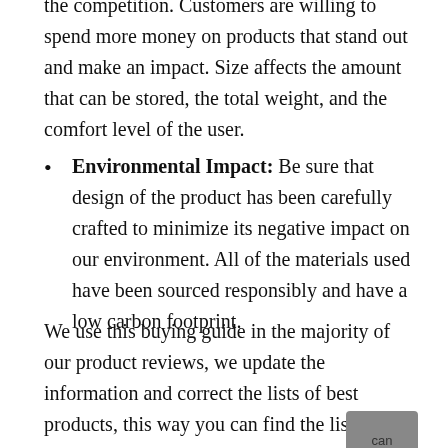the competition. Customers are willing to spend more money on products that stand out and make an impact. Size affects the amount that can be stored, the total weight, and the comfort level of the user.
Environmental Impact: Be sure that design of the product has been carefully crafted to minimize its negative impact on our environment. All of the materials used have been sourced responsibly and have a low carbon footprint.
We use this buying guide in the majority of our product reviews, we update the information and correct the lists of best products, this way you can find the lists of great products quickly and make a